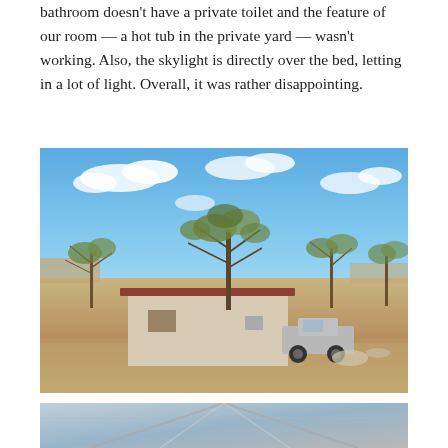bathroom doesn't have a private toilet and the feature of our room — a hot tub in the private yard — wasn't working. Also, the skylight is directly over the bed, letting in a lot of light. Overall, it was rather disappointing.
[Figure (photo): Outdoor scene showing a small white/beige building with a reddish-brown roof, surrounded by acacia-type trees with sparse foliage against a blue sky with scattered clouds. A silver pickup truck is parked to the right of the building. The ground is bare dirt and gravel.]
[Figure (photo): Partial view of what appears to be a skylight or glass ceiling/tent structure, showing structural lines against a light background.]